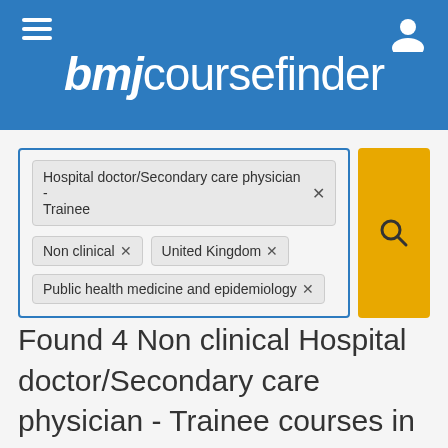[Figure (screenshot): BMJ Course Finder website header with navigation hamburger icon on left and user icon on right]
bmjcoursefinder
Hospital doctor/Secondary care physician - Trainee × | Non clinical × | United Kingdom × | Public health medicine and epidemiology ×
Found 4 Non clinical Hospital doctor/Secondary care physician - Trainee courses in United Kingdom